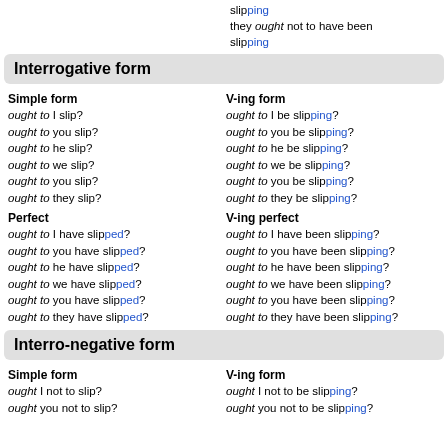slipping
they ought not to have been slipping
Interrogative form
Simple form | V-ing form
ought to I slip? | ought to I be slipping?
ought to you slip? | ought to you be slipping?
ought to he slip? | ought to he be slipping?
ought to we slip? | ought to we be slipping?
ought to you slip? | ought to you be slipping?
ought to they slip? | ought to they be slipping?
Perfect | V-ing perfect
ought to I have slipped? | ought to I have been slipping?
ought to you have slipped? | ought to you have been slipping?
ought to he have slipped? | ought to he have been slipping?
ought to we have slipped? | ought to we have been slipping?
ought to you have slipped? | ought to you have been slipping?
ought to they have slipped? | ought to they have been slipping?
Interro-negative form
Simple form | V-ing form
ought I not to slip? | ought I not to be slipping?
ought you not to slip? | ought you not to be slipping?